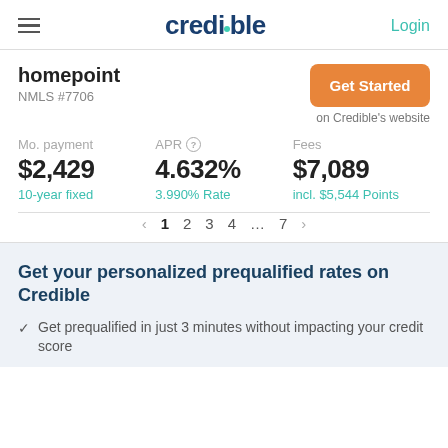credible | Login
homepoint
NMLS #7706
Get Started
on Credible's website
Mo. payment $2,429 10-year fixed
APR 4.632% 3.990% Rate
Fees $7,089 incl. $5,544 Points
1 2 3 4 … 7
Get your personalized prequalified rates on Credible
Get prequalified in just 3 minutes without impacting your credit score